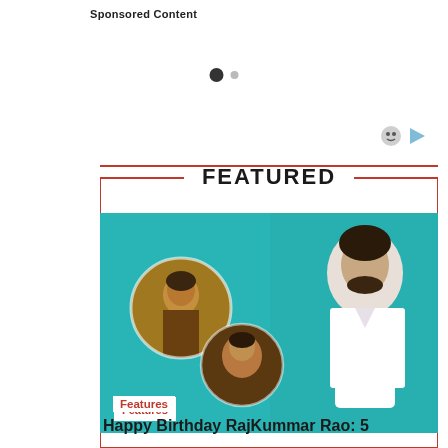Sponsored Content
[Figure (other): Carousel navigation dots - one filled dark circle and one smaller grey circle]
[Figure (other): Ad icon buttons - smiley face icon and play/arrow icon]
FEATURED
[Figure (photo): Featured article image showing RajKummar Rao in a white suit against teal background, with two circular inset photos showing him in different movie roles]
Features
Happy Birthday RajKummar Rao: 5